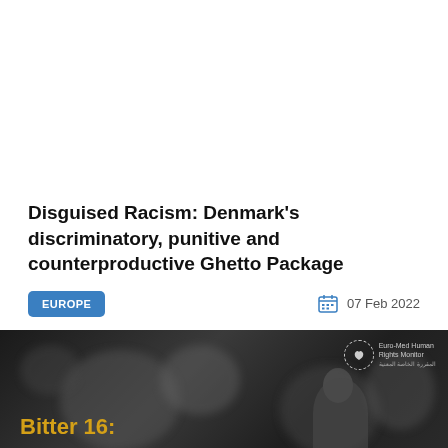Disguised Racism: Denmark's discriminatory, punitive and counterproductive Ghetto Package
EUROPE
07 Feb 2022
[Figure (photo): Dark grayscale image with Euro-Med Human Rights Monitor logo in top right corner and 'Bitter 16:' text in gold/yellow at the bottom left, with silhouetted person visible.]